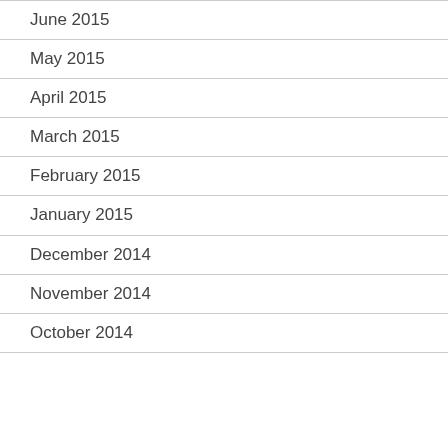June 2015
May 2015
April 2015
March 2015
February 2015
January 2015
December 2014
November 2014
October 2014